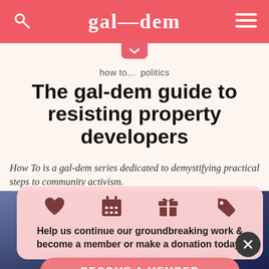gal—dem
how to...  politics
The gal-dem guide to resisting property developers
How To is a gal-dem series dedicated to demystifying practical steps to community activism.
Help us continue our groundbreaking work & become a member or make a donation today!
BECOME A MEMBER